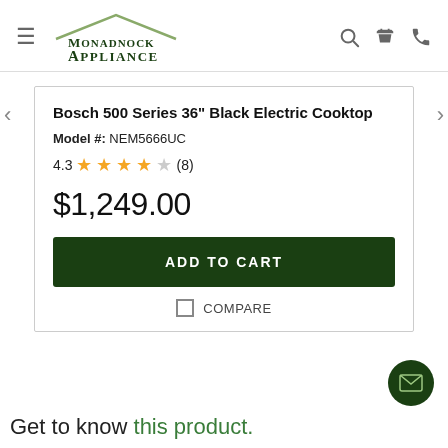Monadnock Appliance
Bosch 500 Series 36" Black Electric Cooktop
Model #: NEM5666UC
4.3 ★★★★☆ (8)
$1,249.00
ADD TO CART
COMPARE
Get to know this product.